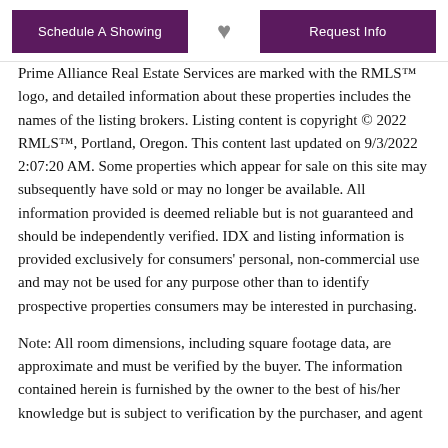Schedule A Showing | [heart icon] | Request Info
Prime Alliance Real Estate Services are marked with the RMLS™ logo, and detailed information about these properties includes the names of the listing brokers. Listing content is copyright © 2022 RMLS™, Portland, Oregon. This content last updated on 9/3/2022 2:07:20 AM. Some properties which appear for sale on this site may subsequently have sold or may no longer be available. All information provided is deemed reliable but is not guaranteed and should be independently verified. IDX and listing information is provided exclusively for consumers' personal, non-commercial use and may not be used for any purpose other than to identify prospective properties consumers may be interested in purchasing.
Note: All room dimensions, including square footage data, are approximate and must be verified by the buyer. The information contained herein is furnished by the owner to the best of his/her knowledge but is subject to verification by the purchaser, and agent assumes no responsibility for the correctness thereof. The oral